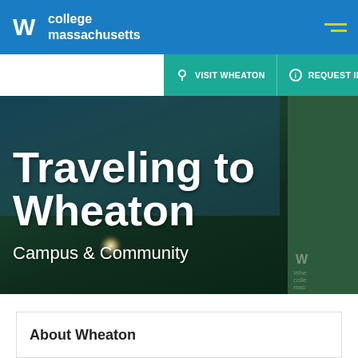Wheaton college massachusetts
VISIT WHEATON | REQUEST INFO | APPLY NOW
[Figure (photo): Hero image of Wheaton College campus with trees and sky background, showing 'Traveling to Wheaton' heading and 'Campus & Community' subheading over a nature photo]
Traveling to Wheaton
Campus & Community
About Wheaton